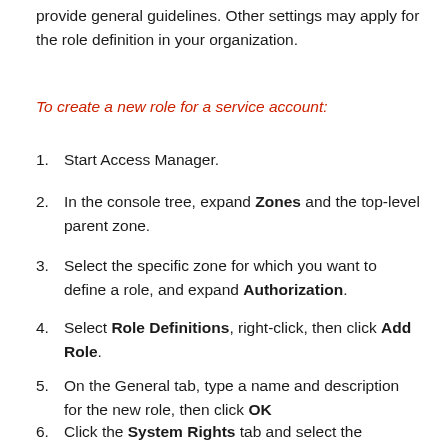provide general guidelines. Other settings may apply for the role definition in your organization.
To create a new role for a service account:
Start Access Manager.
In the console tree, expand Zones and the top-level parent zone.
Select the specific zone for which you want to define a role, and expand Authorization.
Select Role Definitions, right-click, then click Add Role.
On the General tab, type a name and description for the new role, then click OK
Click the System Rights tab and select the following options that allow the service account to